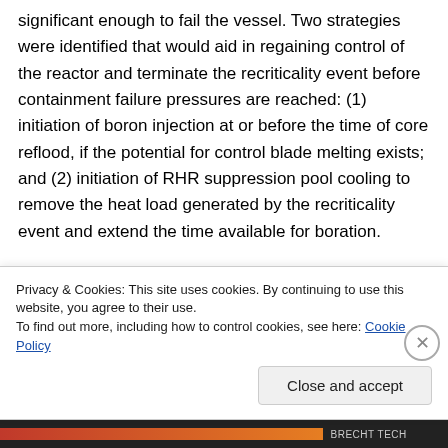significant enough to fail the vessel. Two strategies were identified that would aid in regaining control of the reactor and terminate the recriticality event before containment failure pressures are reached: (1) initiation of boron injection at or before the time of core reflood, if the potential for control blade melting exists; and (2) initiation of RHR suppression pool cooling to remove the heat load generated by the recriticality event and extend the time available for boration.
Privacy & Cookies: This site uses cookies. By continuing to use this website, you agree to their use.
To find out more, including how to control cookies, see here: Cookie Policy